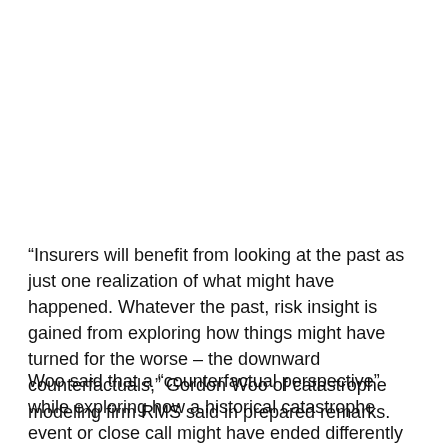“Insurers will benefit from looking at the past as just one realization of what might have happened. Whatever the past, risk insight is gained from exploring how things might have turned for the worse – the downward counterfactuals,” Gordon Woo of catastrophe modeling firm RMS said in prepared remarks.
Woo said that a “counterfactual perspective” while exploring how a historical catastrophe event or close call might have ended differently can give insurers insight “into rare extreme losses that might otherwise have come as a surprise.”